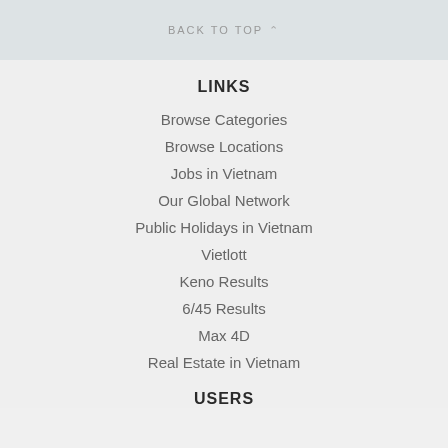BACK TO TOP
LINKS
Browse Categories
Browse Locations
Jobs in Vietnam
Our Global Network
Public Holidays in Vietnam
Vietlott
Keno Results
6/45 Results
Max 4D
Real Estate in Vietnam
USERS